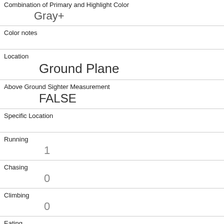Combination of Primary and Highlight Color
Gray+
Color notes
Location
Ground Plane
Above Ground Sighter Measurement
FALSE
Specific Location
Running
1
Chasing
0
Climbing
0
Eating
0
Foraging
0
Other Activities